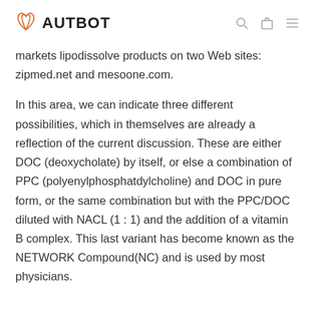AUTBOT
markets lipodissolve products on two Web sites: zipmed.net and mesoone.com.
In this area, we can indicate three different possibilities, which in themselves are already a reflection of the current discussion. These are either DOC (deoxycholate) by itself, or else a combination of PPC (polyenylphosphatdylcholine) and DOC in pure form, or the same combination but with the PPC/DOC diluted with NACL (1 : 1) and the addition of a vitamin B complex. This last variant has become known as the NETWORK Compound(NC) and is used by most physicians.